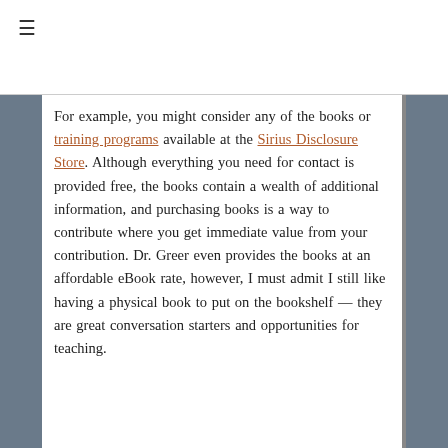≡
For example, you might consider any of the books or training programs available at the Sirius Disclosure Store. Although everything you need for contact is provided free, the books contain a wealth of additional information, and purchasing books is a way to contribute where you get immediate value from your contribution. Dr. Greer even provides the books at an affordable eBook rate, however, I must admit I still like having a physical book to put on the bookshelf — they are great conversation starters and opportunities for teaching.